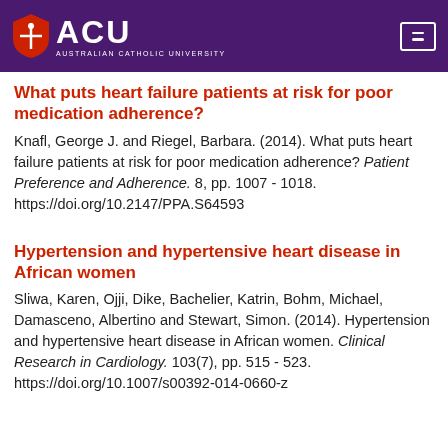[Figure (logo): ACU Australian Catholic University logo with shield on purple header background, and hamburger menu icon on right]
What puts heart failure patients at risk for poor medication adherence?
Knafl, George J. and Riegel, Barbara. (2014). What puts heart failure patients at risk for poor medication adherence? Patient Preference and Adherence. 8, pp. 1007 - 1018. https://doi.org/10.2147/PPA.S64593
Hypertension and hypertensive heart disease in African women
Sliwa, Karen, Ojji, Dike, Bachelier, Katrin, Bohm, Michael, Damasceno, Albertino and Stewart, Simon. (2014). Hypertension and hypertensive heart disease in African women. Clinical Research in Cardiology. 103(7), pp. 515 - 523. https://doi.org/10.1007/s00392-014-0660-z